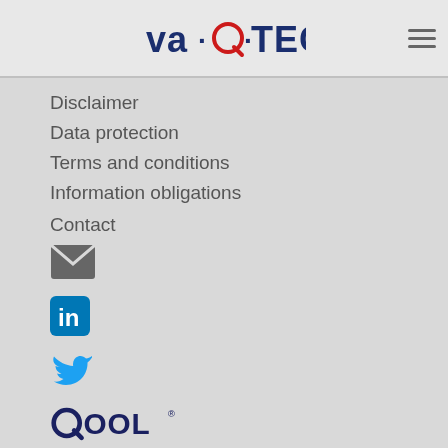va-Q-tec [logo] [hamburger menu]
Disclaimer
Data protection
Terms and conditions
Information obligations
Contact
[Figure (illustration): Email envelope icon (dark gray)]
[Figure (logo): LinkedIn icon (blue rounded square with 'in')]
[Figure (illustration): Twitter bird icon (blue)]
[Figure (logo): QOOL® logo in dark blue bold text]
[Figure (illustration): Shopping cart icon (dark gray)]
[Figure (illustration): Instagram icon (pink/magenta rounded square outline)]
[Figure (logo): LinkedIn icon (teal/cyan rounded square with 'in')]